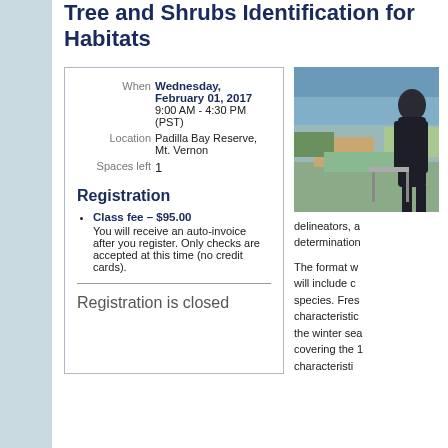Tree and Shrub Identification for Habitats
When  Wednesday, February 01, 2017
9:00 AM - 4:30 PM (PST)
Location  Padilla Bay Reserve, Mt. Vernon
Spaces left  1
Registration
Class fee – $95.00
You will receive an auto-invoice after you register. Only checks are accepted at this time (no credit cards).
Registration is closed
[Figure (photo): Photo of an instructor or presenter standing in front of an aerial landscape image, speaking to an audience.]
delineators, a determination
The format w will include c species. Fres characteristic the winter sea covering the 1 characteristi